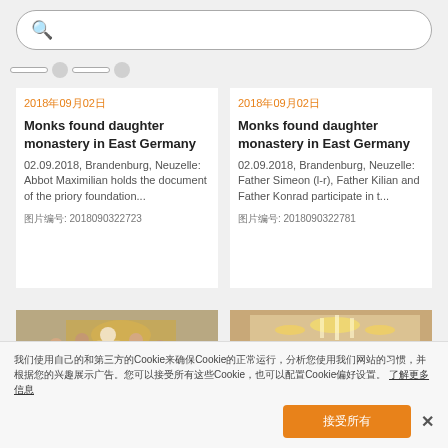搜索占位符文字（搜索框）
2018年09月02日
Monks found daughter monastery in East Germany
02.09.2018, Brandenburg, Neuzelle: Abbot Maximilian holds the document of the priory foundation...
图片编号: 2018090322723
2018年09月02日
Monks found daughter monastery in East Germany
02.09.2018, Brandenburg, Neuzelle: Father Simeon (l-r), Father Kilian and Father Konrad participate in t...
图片编号: 2018090322781
[Figure (photo): Church interior with monks in green robes gathered around an altar]
[Figure (photo): Ornate Baroque church interior with gilded decoration and chandelier]
我们使用自己的和第三方的Cookie来确保Cookie的正常运行，分析您使用我们网站的习惯，并根据您的兴趣展示广告。您可以接受所有这些Cookie，也可以配置Cookie偏好设置。 了解更多信息